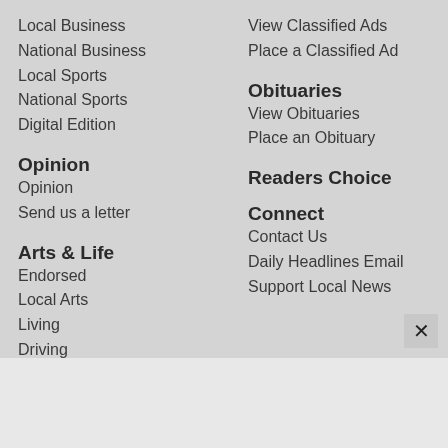Local Business
National Business
Local Sports
National Sports
Digital Edition
Opinion
Opinion
Send us a letter
Arts & Life
Endorsed
Local Arts
Living
Driving
Automotive
Consumer Technology
Food
Health
View Classified Ads
Place a Classified Ad
Obituaries
View Obituaries
Place an Obituary
Readers Choice
Connect
Contact Us
Daily Headlines Email
Support Local News